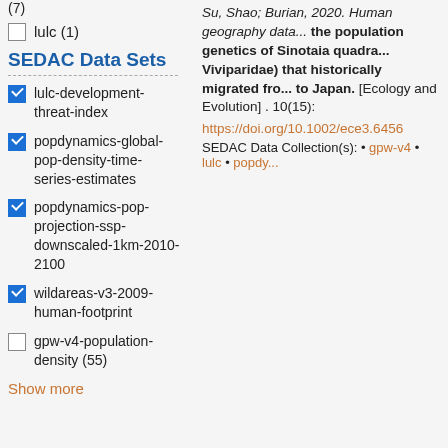(7)
lulc (1)
SEDAC Data Sets
lulc-development-threat-index [checked]
popdynamics-global-pop-density-time-series-estimates [checked]
popdynamics-pop-projection-ssp-downscaled-1km-2010-2100 [checked]
wildareas-v3-2009-human-footprint [checked]
gpw-v4-population-density (55) [unchecked]
Show more
Su, Shao; Burian, 2020. Human geography data... the population genetics of Sinotaia quadrata (Viviparidae) that historically migrated from... to Japan. [Ecology and Evolution] . 10(15):
https://doi.org/10.1002/ece3.6456
SEDAC Data Collection(s): • gpw-v4 • lulc • popdynamics